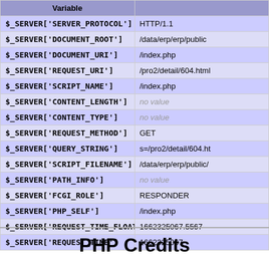| Variable | Value |
| --- | --- |
| $_SERVER['SERVER_PROTOCOL'] | HTTP/1.1 |
| $_SERVER['DOCUMENT_ROOT'] | /data/erp/erp/public |
| $_SERVER['DOCUMENT_URI'] | /index.php |
| $_SERVER['REQUEST_URI'] | /pro2/detail/604.html |
| $_SERVER['SCRIPT_NAME'] | /index.php |
| $_SERVER['CONTENT_LENGTH'] | no value |
| $_SERVER['CONTENT_TYPE'] | no value |
| $_SERVER['REQUEST_METHOD'] | GET |
| $_SERVER['QUERY_STRING'] | s=/pro2/detail/604.ht |
| $_SERVER['SCRIPT_FILENAME'] | /data/erp/erp/public/ |
| $_SERVER['PATH_INFO'] | no value |
| $_SERVER['FCGI_ROLE'] | RESPONDER |
| $_SERVER['PHP_SELF'] | /index.php |
| $_SERVER['REQUEST_TIME_FLOAT'] | 1662325067.5567 |
| $_SERVER['REQUEST_TIME'] | 1662325067 |
PHP Credits